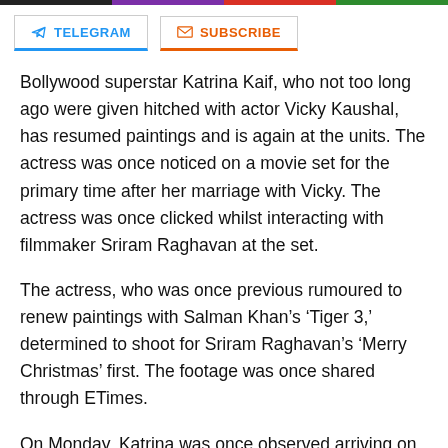TELEGRAM | SUBSCRIBE
Bollywood superstar Katrina Kaif, who not too long ago were given hitched with actor Vicky Kaushal, has resumed paintings and is again at the units. The actress was once noticed on a movie set for the primary time after her marriage with Vicky. The actress was once clicked whilst interacting with filmmaker Sriram Raghavan at the set.
The actress, who was once previous rumoured to renew paintings with Salman Khan’s ‘Tiger 3,’ determined to shoot for Sriram Raghavan's ‘Merry Christmas’ first. The footage was once shared through ETimes.
On Monday, Katrina was once observed arriving on the place of abode of Vicky’s oldsters in Andheri, Mumbai. Vicky Kaushal has already returned to paintings. Wearing her